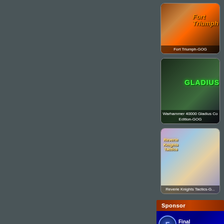[Figure (screenshot): Game card for Fort Triumph-GOG showing game artwork with orange/fire tones and the game title overlay]
Fort Triumph-GOG
[Figure (screenshot): Game card for Warhammer 40000 Gladius Complete Edition-GOG showing dark green fantasy/sci-fi artwork with green glowing title]
Warhammer 40000 Gladius Co... Edition-GOG
[Figure (screenshot): Game card for Reverie Knights Tactics-G... showing colorful anime-style artwork with characters in a fantasy landscape]
Reverie Knights Tactics-G...
Sponsor
[Figure (logo): Final Autocu... sponsor logo with blue background, circular F icon, and white text]